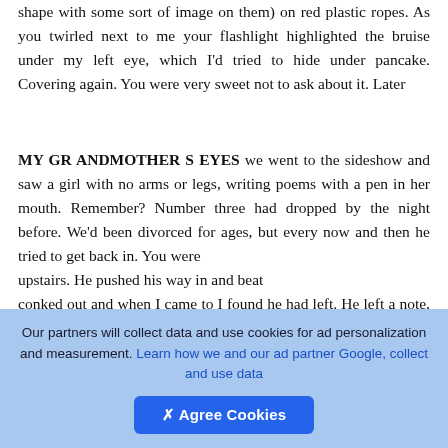shape with some sort of image on them) on red plastic ropes. As you twirled next to me your flashlight highlighted the bruise under my left eye, which I'd tried to hide under pancake. Covering again. You were very sweet not to ask about it. Later
MY GR ANDMOTHER S EYES we went to the sideshow and saw a girl with no arms or legs, writing poems with a pen in her mouth. Remember? Number three had dropped by the night before. We'd been divorced for ages, but every now and then he tried to get back in. You were upstairs. He pushed his way in and beat conked out and when I came to I found he had left. He left a note, barely legible, asking that I forgive him. You may be thinking, why did I do this? Three
[Figure (other): Dark rounded square button with a circle upload/add icon in white, overlaid on the text]
Our partners will collect data and use cookies for ad personalization and measurement. Learn how we and our ad partner Google, collect and use data
✕ Agree Cookies